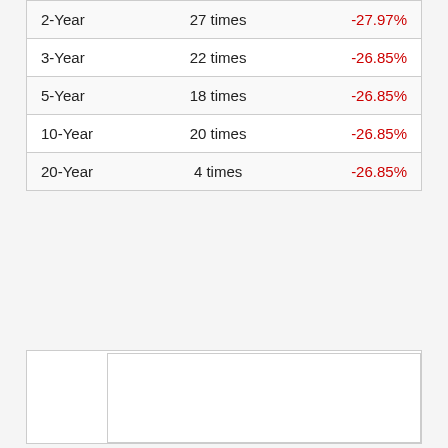| Period | Frequency | Return |
| --- | --- | --- |
| 2-Year | 27 times | -27.97% |
| 3-Year | 22 times | -26.85% |
| 5-Year | 18 times | -26.85% |
| 10-Year | 20 times | -26.85% |
| 20-Year | 4 times | -26.85% |
[Figure (other): Empty white content box with a close button (X) in the top-right corner and a smaller empty white box in the bottom-right area]